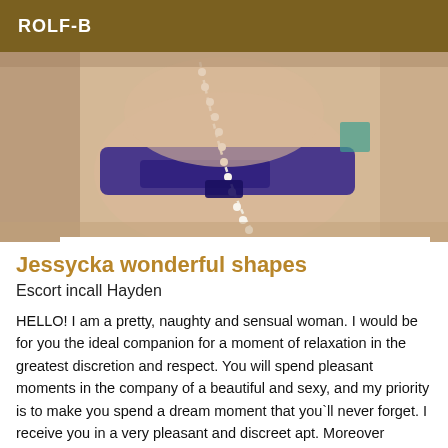ROLF-B
[Figure (photo): Photo showing a woman's torso in purple lingerie with a pearl necklace]
Jessycka wonderful shapes
Escort incall Hayden
HELLO! I am a pretty, naughty and sensual woman. I would be for you the ideal companion for a moment of relaxation in the greatest discretion and respect. You will spend pleasant moments in the company of a beautiful and sexy, and my priority is to make you spend a dream moment that you`ll never forget. I receive you in a very pleasant and discreet apt. Moreover hygiene is guaranteed and requested, call me! No sms and no kidneys please. Nice setting, rate premium for a